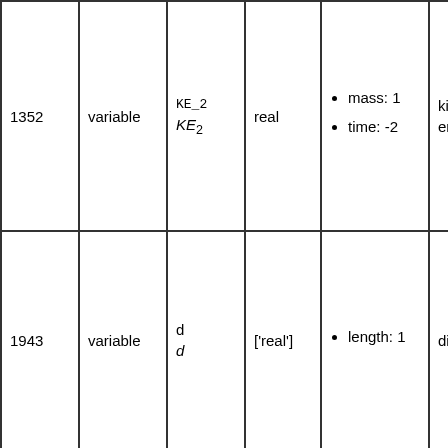| 1352 | variable | KE_2
KE₂ | real | • mass: 1
• time: -2 | kinetic energy |  |
| 1943 | variable | d
d | ['real'] | • length: 1 | displacement |  |